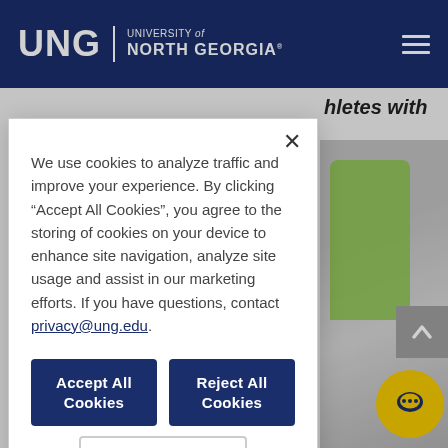UNG | UNIVERSITY of NORTH GEORGIA
athletes with
[Figure (photo): Person wearing a green sweater, partially visible behind the cookie consent modal dialog, with a scroll-to-top button and yellow chat button in the corner.]
We use cookies to analyze traffic and improve your experience. By clicking “Accept All Cookies”, you agree to the storing of cookies on your device to enhance site navigation, analyze site usage and assist in our marketing efforts. If you have questions, contact privacy@ung.edu.
Accept All Cookies
Reject All Cookies
Cookies Settings